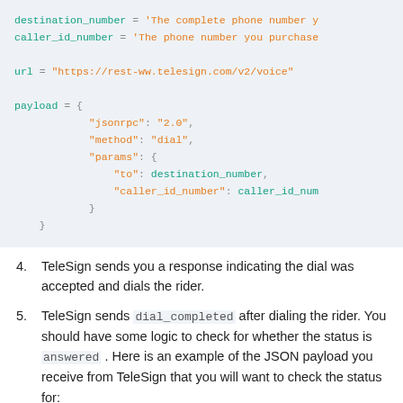[Figure (screenshot): Code snippet showing Python variable assignments and a payload dict for a TeleSign voice API call. destination_number and caller_id_number variables set, url set to https://rest-ww.telesign.com/v2/voice, and payload dict with jsonrpc, method, and params keys.]
4. TeleSign sends you a response indicating the dial was accepted and dials the rider.
5. TeleSign sends dial_completed after dialing the rider. You should have some logic to check for whether the status is answered. Here is an example of the JSON payload you receive from TeleSign that you will want to check the status for: